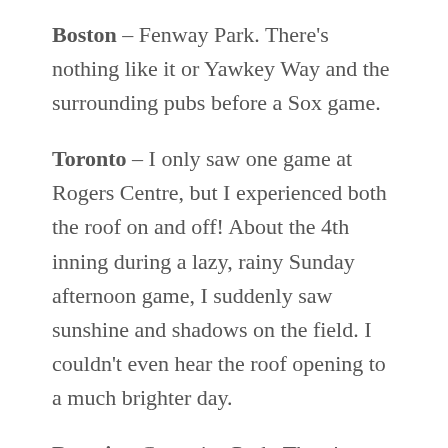Boston – Fenway Park. There's nothing like it or Yawkey Way and the surrounding pubs before a Sox game.
Toronto – I only saw one game at Rogers Centre, but I experienced both the roof on and off! About the 4th inning during a lazy, rainy Sunday afternoon game, I suddenly saw sunshine and shadows on the field. I couldn't even hear the roof opening to a much brighter day.
Detroit – Comerica Park. There's even a brick near the Tiger at the entrance with my name on it … in the players' section, (except I'm not the former major leaguer, Brian Williams) I still got a photo of myself with that brick! Sadly, during that same trip, I visited the sporting of Tiger Stadium and really the area around it.